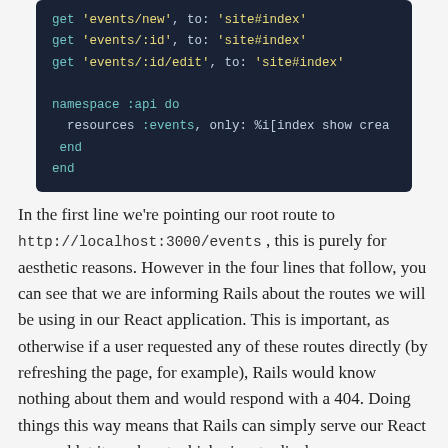[Figure (screenshot): Code block showing Ruby on Rails routes configuration with get routes for events and a namespace :api block with resources :events]
In the first line we're pointing our root route to http://localhost:3000/events , this is purely for aesthetic reasons. However in the four lines that follow, you can see that we are informing Rails about the routes we will be using in our React application. This is important, as otherwise if a user requested any of these routes directly (by refreshing the page, for example), Rails would know nothing about them and would respond with a 404. Doing things this way means that Rails can simply serve our React app and let it work out which view to display.